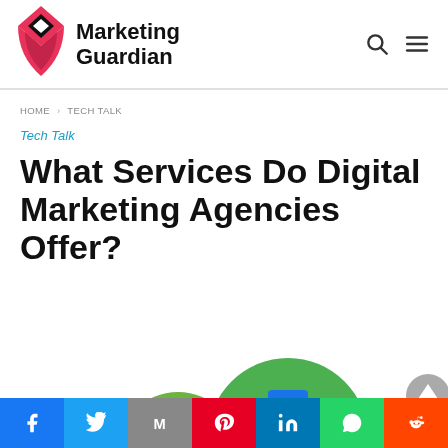Marketing Guardian
HOME › TECH TALK
Tech Talk
What Services Do Digital Marketing Agencies Offer?
[Figure (illustration): Circular icons showing digital marketing services: Content (green circle with content/YouTube icons), Google Adwords (larger green circle with Google Ads logo), SEO (yellow/gold circle with SEO monitor icon), and partial text DIGITAL at the bottom.]
Social share buttons: Facebook, Twitter, Email (M), Pinterest, LinkedIn, WhatsApp, Reddit